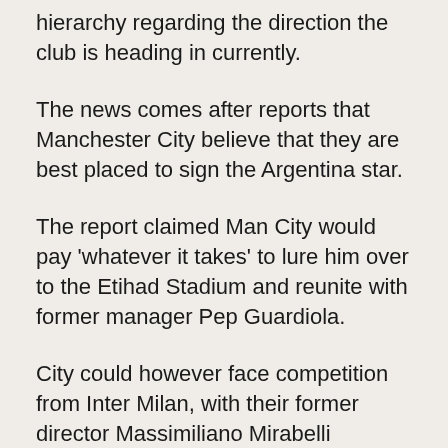hierarchy regarding the direction the club is heading in currently.
The news comes after reports that Manchester City believe that they are best placed to sign the Argentina star.
The report claimed Man City would pay 'whatever it takes' to lure him over to the Etihad Stadium and reunite with former manager Pep Guardiola.
City could however face competition from Inter Milan, with their former director Massimiliano Mirabelli claiming his signing 'is more than a dream' for the club.
But City's reportedly believe that they will be at the front of the queue if the six-time Ballon d'Or winner decides to seek a new challenge.
But Sky Sports pundit Graeme Souness believes city rivals Manchester United should make a sensational